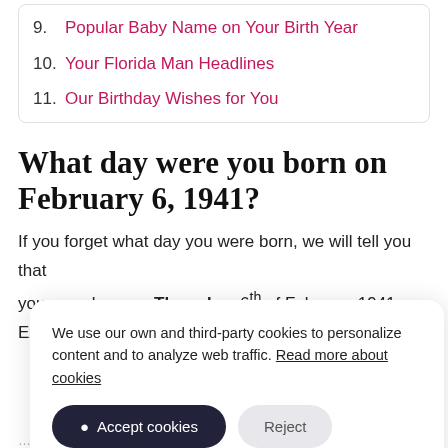9. Popular Baby Name on Your Birth Year
10. Your Florida Man Headlines
11. Our Birthday Wishes for You
What day were you born on February 6, 1941?
If you forget what day you were born, we will tell you that you were born on Thursday, 6th of February 1941. Exactly, that ... by ... y. If ... a
We use our own and third-party cookies to personalize content and to analyze web traffic. Read more about cookies
Accept cookies  Reject